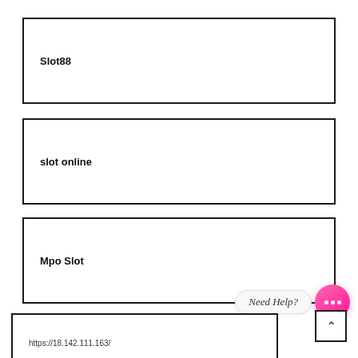Slot88
slot online
Mpo Slot
[Figure (other): Need Help? chat bubble with pink circle containing ellipsis dots, and a scroll-to-top arrow button]
https://18.142.111.163/